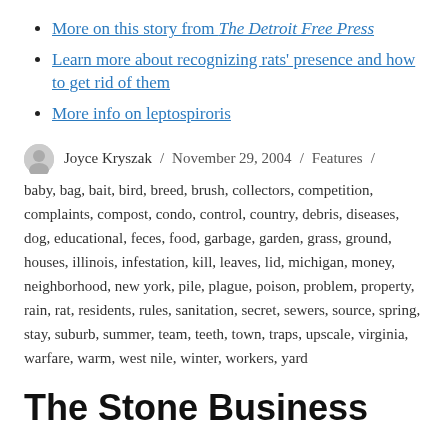More on this story from The Detroit Free Press
Learn more about recognizing rats' presence and how to get rid of them
More info on leptospiroris
Joyce Kryszak / November 29, 2004 / Features / baby, bag, bait, bird, breed, brush, collectors, competition, complaints, compost, condo, control, country, debris, diseases, dog, educational, feces, food, garbage, garden, grass, ground, houses, illinois, infestation, kill, leaves, lid, michigan, money, neighborhood, new york, pile, plague, poison, problem, property, rain, rat, residents, rules, sanitation, secret, sewers, source, spring, stay, suburb, summer, team, teeth, town, traps, upscale, virginia, warfare, warm, west nile, winter, workers, yard
The Stone Business